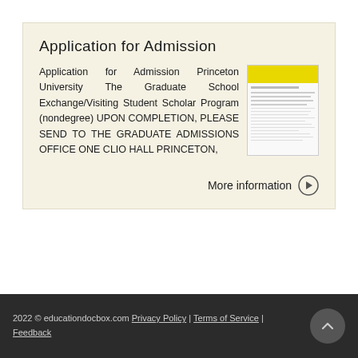Application for Admission
Application for Admission Princeton University The Graduate School Exchange/Visiting Student Scholar Program (nondegree) UPON COMPLETION, PLEASE SEND TO THE GRADUATE ADMISSIONS OFFICE ONE CLIO HALL PRINCETON,
[Figure (photo): Thumbnail image of a form/document with yellow header, showing fields for application]
More information →
2022 © educationdocbox.com  Privacy Policy | Terms of Service | Feedback